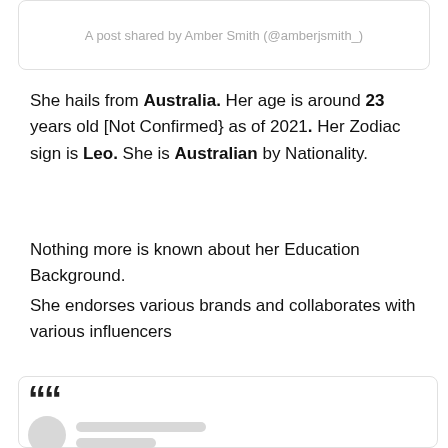A post shared by Amber Smith (@amberjsmith_)
She hails from Australia. Her age is around 23 years old [Not Confirmed} as of 2021. Her Zodiac sign is Leo. She is Australian by Nationality.
Nothing more is known about her Education Background.
She endorses various brands and collaborates with various influencers
[Figure (screenshot): Social media post embed card with large quotation mark and blurred/placeholder avatar and text lines]